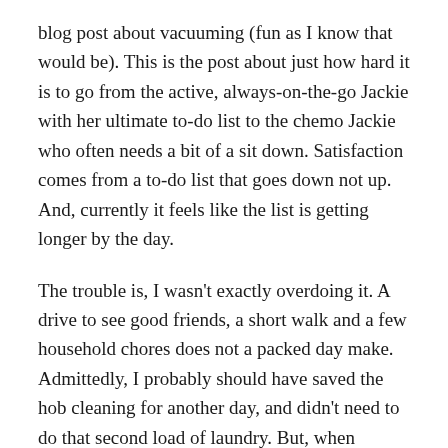blog post about vacuuming (fun as I know that would be). This is the post about just how hard it is to go from the active, always-on-the-go Jackie with her ultimate to-do list to the chemo Jackie who often needs a bit of a sit down. Satisfaction comes from a to-do list that goes down not up. And, currently it feels like the list is getting longer by the day.
The trouble is, I wasn't exactly overdoing it. A drive to see good friends, a short walk and a few household chores does not a packed day make. Admittedly, I probably should have saved the hob cleaning for another day, and didn't need to do that second load of laundry. But, when chemo gifts you a window of energy, it's really hard not to grab it.